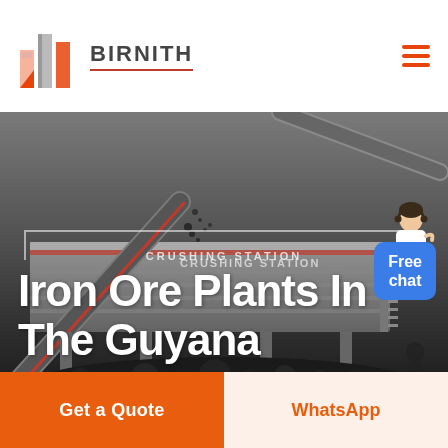[Figure (logo): Birnith company logo: orange/red building icon with two pillars, company name BIRNITH in bold dark grey with red underline, hamburger menu icon in orange on the right]
[Figure (photo): Industrial mining crushing station machinery with conveyor belt, dark rocks/ore piled in foreground, grey heavy equipment labeled CRUSHING STATION in background, dark industrial setting]
Iron Ore Plants In The Guyana
[Figure (infographic): Free chat button bubble in blue with a customer service avatar figure to the upper right side]
Get a Quote
WhatsApp